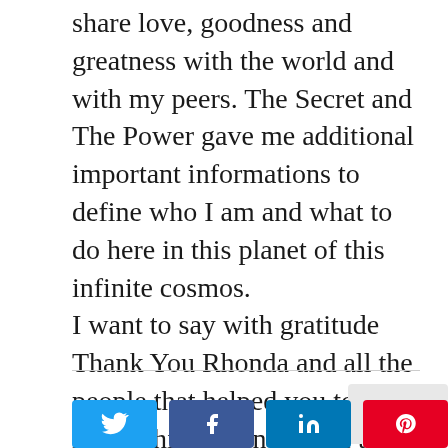share love, goodness and greatness with the world and with my peers. The Secret and The Power gave me additional important informations to define who I am and what to do here in this planet of this infinite cosmos.
I want to say with gratitude Thank You Rhonda and all the people that helped you to move/shift the energy on this planet. You surely are giving a great contribution during these times of great change.
With Love and Respect.
[Figure (other): Social share buttons: Twitter (blue), Facebook (blue), LinkedIn (blue), Pinterest (red)]